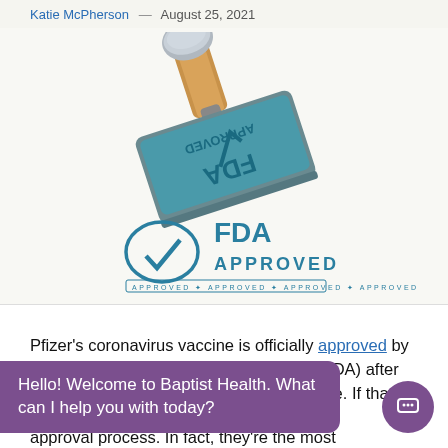Katie McPherson   August 25, 2021
[Figure (photo): An FDA APPROVED rubber stamp with a blue teal face showing the FDA logo and a checkmark, with a wooden and metal handle. Below the stamp, text reads 'FDA APPROVED' with a checkmark icon and a decorative border with repeated 'APPROVED' text.]
Pfizer's coronavirus vaccine is officially approved by the U.S. Food and Drug Administration (FDA) after months of authorization for emergency use. If that seems fast, it's important to understand ... approval process. In fact, they're the most
Hello! Welcome to Baptist Health. What can I help you with today?